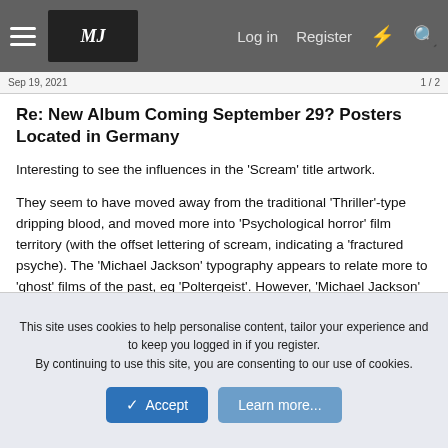Log in  Register
Re: New Album Coming September 29? Posters Located in Germany
Interesting to see the influences in the 'Scream' title artwork.
They seem to have moved away from the traditional 'Thriller'-type dripping blood, and moved more into 'Psychological horror' film territory (with the offset lettering of scream, indicating a 'fractured psyche). The 'Michael Jackson' typography appears to relate more to 'ghost' films of the past, eg 'Poltergeist'. However, 'Michael Jackson' letters are not complete, making you think of MJ 'with no beginning and no end'.
Visually, I still don't like the look of these two typographies...
This site uses cookies to help personalise content, tailor your experience and to keep you logged in if you register.
By continuing to use this site, you are consenting to our use of cookies.